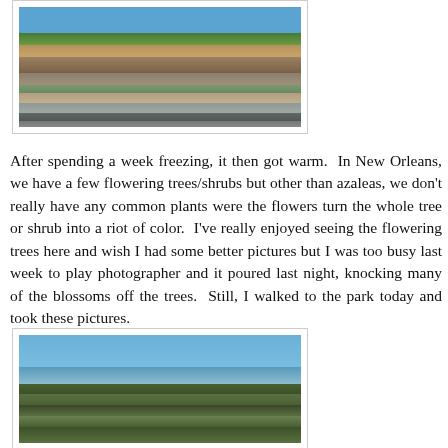[Figure (photo): Rocky cliff face with vegetation and a stream or road at the bottom, taken outdoors in daylight]
After spending a week freezing, it then got warm.  In New Orleans, we have a few flowering trees/shrubs but other than azaleas, we don't really have any common plants were the flowers turn the whole tree or shrub into a riot of color.  I've really enjoyed seeing the flowering trees here and wish I had some better pictures but I was too busy last week to play photographer and it poured last night, knocking many of the blossoms off the trees.  Still, I walked to the park today and took these pictures.
[Figure (photo): Bare tree branches against a blue sky, with what appears to be birds or blossoms in the branches]